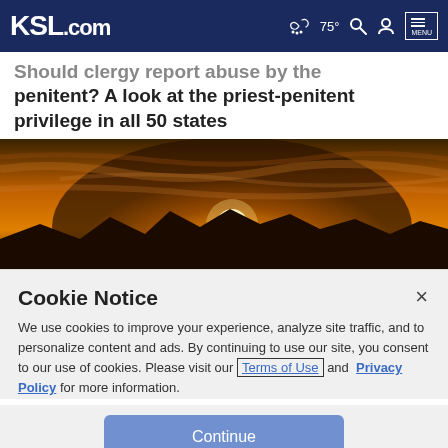KSL.com — 75° MENU
Should clergy report abuse by the penitent? A look at the priest-penitent privilege in all 50 states
[Figure (photo): Sunset over mountains with golden sky and silhouetted landscape]
Cookie Notice
We use cookies to improve your experience, analyze site traffic, and to personalize content and ads. By continuing to use our site, you consent to our use of cookies. Please visit our Terms of Use and Privacy Policy for more information.
Continue